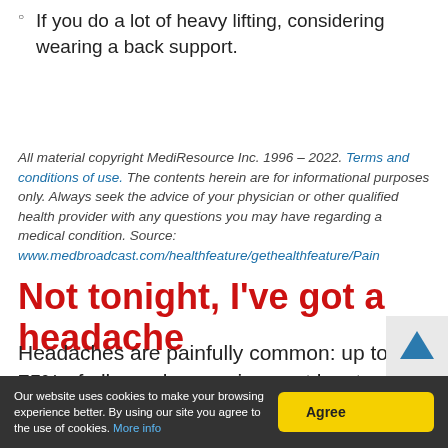If you do a lot of heavy lifting, considering wearing a back support.
All material copyright MediResource Inc. 1996 – 2022. Terms and conditions of use. The contents herein are for informational purposes only. Always seek the advice of your physician or other qualified health provider with any questions you may have regarding a medical condition. Source: www.medbroadcast.com/healthfeature/gethealthfeature/Pain
Not tonight, I've got a headache
Headaches are painfully common: up to 75% of all people experience at least one a year. For some, headaches come regularly (like migraines or cluster headaches), while others get them only when life ge…
Our website uses cookies to make your browsing experience better. By using our site you agree to the use of cookies. More info  [Agree]